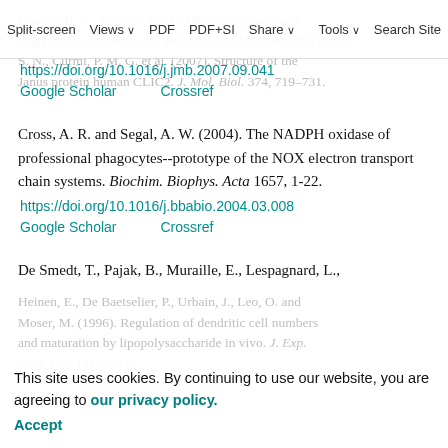Split-screen  Views  PDF  PDF+SI  Share  Tools  Search Site
Cramer, R. A., Gordon, M. A., Hettori, G., Adams, J., Coggan, M., Littler, D. R., Brown, L. J., Mazzanti, M., Breit, S. N., Curmi, P. M. G. et al. (2007). Structure of the Janus protein human CLIC2. J. Mol. Biol. 374, 719–731.
https://doi.org/10.1016/j.jmb.2007.09.041
Google Scholar    Crossref
Cross, A. R. and Segal, A. W. (2004). The NADPH oxidase of professional phagocytes--prototype of the NOX electron transport chain systems. Biochim. Biophys. Acta 1657, 1-22.
https://doi.org/10.1016/j.bbabio.2004.03.008
Google Scholar    Crossref
De Smedt, T., Pajak, B., Muraille, E., Lespagnard, L., Heinen, E., De Baetselier, P., Urbain, J., Leo, O. and Moser, M. (1996). Regulation of dendritic cell numbers and maturation by lipopolysaccharide in vivo. J. Exp. Med. 184, 1413–1424.
This site uses cookies. By continuing to use our website, you are agreeing to our privacy policy.
Accept